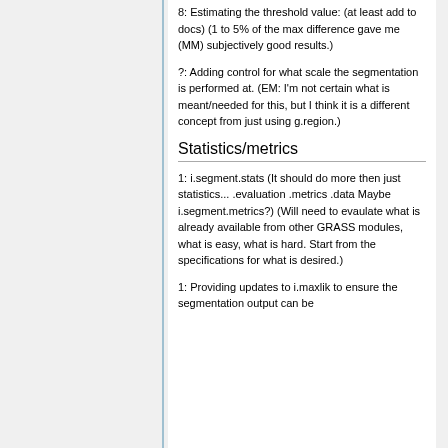8: Estimating the threshold value: (at least add to docs) (1 to 5% of the max difference gave me (MM) subjectively good results.)
?: Adding control for what scale the segmentation is performed at. (EM: I'm not certain what is meant/needed for this, but I think it is a different concept from just using g.region.)
Statistics/metrics
1: i.segment.stats (It should do more then just statistics... .evaluation .metrics .data Maybe i.segment.metrics?) (Will need to evaulate what is already available from other GRASS modules, what is easy, what is hard. Start from the specifications for what is desired.)
1: Providing updates to i.maxlik to ensure the segmentation output can be